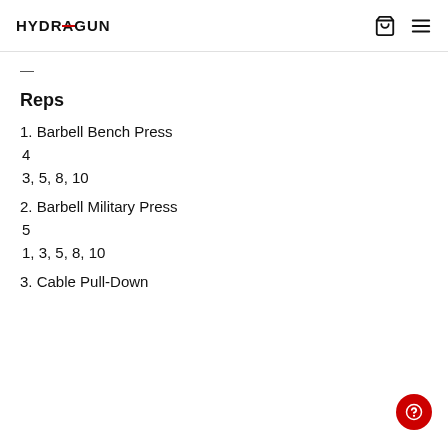HYDRAGUN
...
Reps
1. Barbell Bench Press
4
3, 5, 8, 10
2. Barbell Military Press
5
1, 3, 5, 8, 10
3. Cable Pull-Down